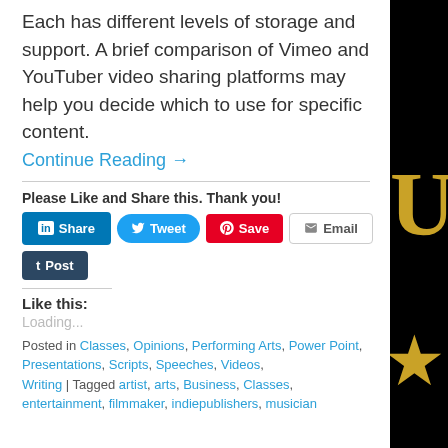Each has different levels of storage and support. A brief comparison of Vimeo and YouTuber video sharing platforms may help you decide which to use for specific content.
Continue Reading →
Please Like and Share this. Thank you!
Loading...
Posted in Classes, Opinions, Performing Arts, Power Point, Presentations, Scripts, Speeches, Videos, Writing | Tagged artist, arts, Business, Classes, entertainment, filmmaker, indiepublishers, musician